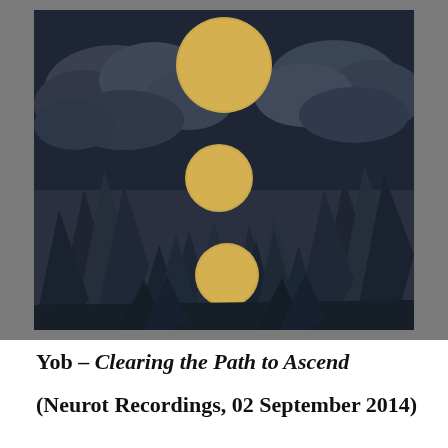[Figure (illustration): Album cover artwork for Yob – Clearing the Path to Ascend. A dark, moody landscape with jagged rocky formations under a dark blue-grey stormy sky with dramatic clouds. Three golden/amber circles of decreasing size are positioned vertically down the center of the composition, resembling moons or celestial orbs. The overall palette is dark grey-blue with golden accents. The image is framed with a grey border.]
Yob – Clearing the Path to Ascend
(Neurot Recordings, 02 September 2014)